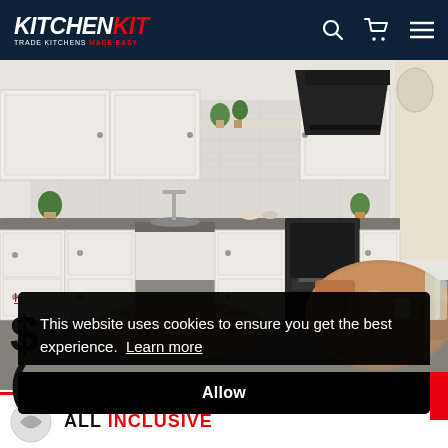[Figure (logo): KitchenKit logo — white italic KITCHEN in bold, red italic KIT in bold, subtitle TRADE KITCHENS MADE EASY in white/red small caps]
[Figure (photo): White shaker-style kitchen with L-shaped layout, grey worktops, black angled extractor fan, open shelving with plants, wooden dining table and chairs in the foreground]
This website uses cookies to ensure you get the best experience.  Learn more
Allow